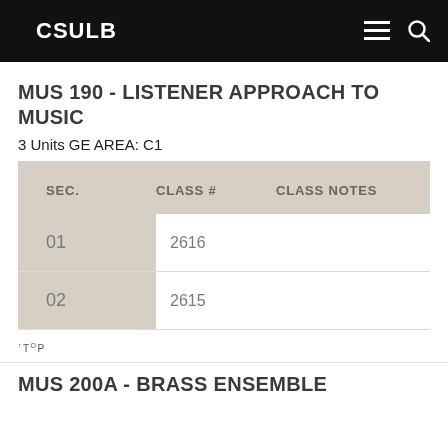CSULB
MUS 190 - LISTENER APPROACH TO MUSIC
3 Units GE AREA: C1
| SEC. | CLASS # | CLASS NOTES | T |
| --- | --- | --- | --- |
| 01 | 2616 |  | L |
| 02 | 2615 |  | L |
TOP
MUS 200A - BRASS ENSEMBLE